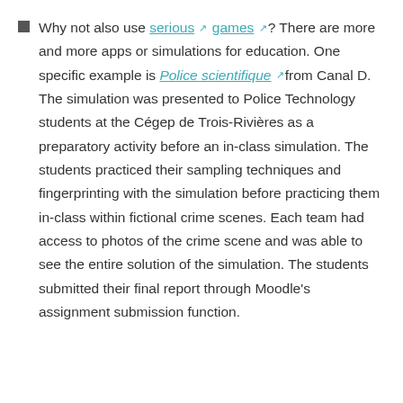Why not also use serious [external] games [external]? There are more and more apps or simulations for education. One specific example is Police scientifique [external] from Canal D. The simulation was presented to Police Technology students at the Cégep de Trois-Rivières as a preparatory activity before an in-class simulation. The students practiced their sampling techniques and fingerprinting with the simulation before practicing them in-class within fictional crime scenes. Each team had access to photos of the crime scene and was able to see the entire solution of the simulation. The students submitted their final report through Moodle's assignment submission function.